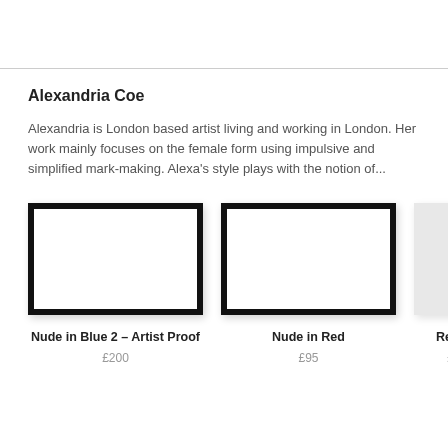Alexandria Coe
Alexandria is London based artist living and working in London. Her work mainly focuses on the female form using impulsive and simplified mark-making. Alexa's style plays with the notion of...
[Figure (illustration): Artwork thumbnail with thick black border — Nude in Blue 2 – Artist Proof]
Nude in Blue 2 – Artist Proof
£200
[Figure (illustration): Artwork thumbnail with thick black border — Nude in Red]
Nude in Red
£95
[Figure (illustration): Partial artwork thumbnail — Red N... (cropped)]
Red N...
£5...